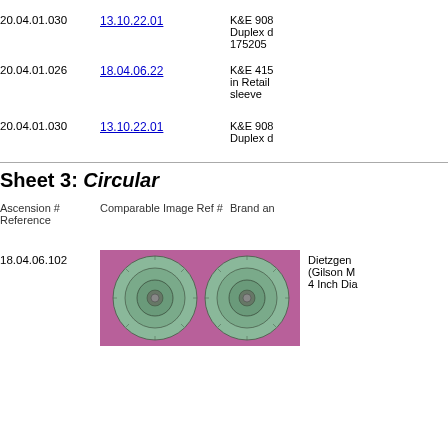20.04.01.030   13.10.22.01   K&E 908 Duplex d 175205
20.04.01.026   18.04.06.22   K&E 415 in Retail sleeve
20.04.01.030   13.10.22.01   K&E 908 Duplex d
Sheet 3: Circular
Ascension # Reference   Comparable Image Ref #   Brand an
18.04.06.102   Dietzgen (Gilson M 4 Inch Dia
[Figure (photo): Two circular slide rules photographed on a purple/mauve background]